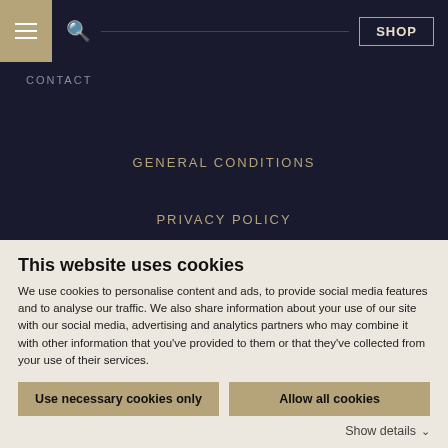SHOP
CONTACT
GENERAL CONDITIONS
PRIVACY POLICY
VINVIN LOGIN
This website uses cookies
We use cookies to personalise content and ads, to provide social media features and to analyse our traffic. We also share information about your use of our site with our social media, advertising and analytics partners who may combine it with other information that you've provided to them or that they've collected from your use of their services.
Use necessary cookies only
Allow all cookies
Show details